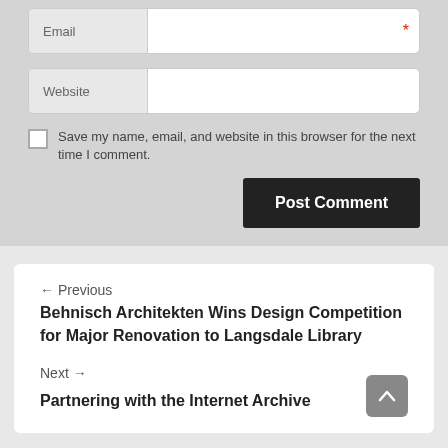Email (form field with required marker)
Website (form field)
Save my name, email, and website in this browser for the next time I comment.
Post Comment
← Previous
Behnisch Architekten Wins Design Competition for Major Renovation to Langsdale Library
Next →
Partnering with the Internet Archive